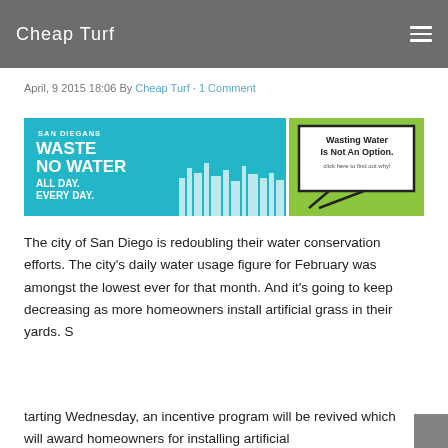Cheap Turf
April, 9 2015 18:06 By Cheap Turf · 1 Comment
[Figure (illustration): Two side-by-side water conservation ads: left is teal with 'San Diegans Waste No Water All Day. Every Day.' with a city skyline; right is green with 'Wasting Water Is Not An Option. click here to find out why!']
The city of San Diego is redoubling their water conservation efforts. The city's daily water usage figure for February was amongst the lowest ever for that month. And it's going to keep decreasing as more homeowners install artificial grass in their yards. S
tarting Wednesday, an incentive program will be revived which will award homeowners for installing artificial